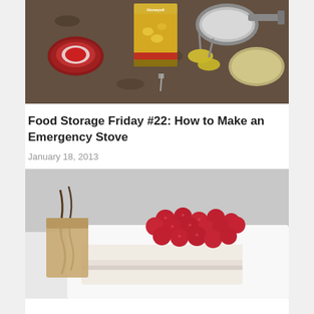[Figure (photo): Kitchen countertop with canned goods (Honeyville brand pineapple can), a small frying pan, yellow-handled scissors/can opener, a fork, and an open can lid on a granite surface.]
Food Storage Friday #22: How to Make an Emergency Stove
January 18, 2013
[Figure (photo): Close-up of a rectangular slice of white cream cake topped with fresh red raspberries, with chocolate drizzle visible on the left side, on a white plate.]